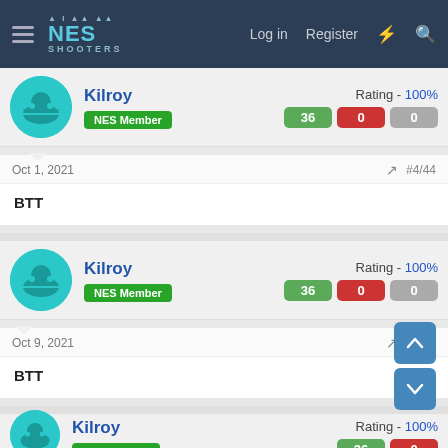NES SHOOTERS — Log in | Register
Kilroy — NES Member — Rating - 100% — 36 | 0 | 0
Oct 1, 2021   #4/44
BTT
Kilroy — NES Member — Rating - 100% — 36 | 0 | 0
Oct 9, 2021   #5/44
BTT
Kilroy — NES Member — Rating - 100% — 36 | 0 | 0